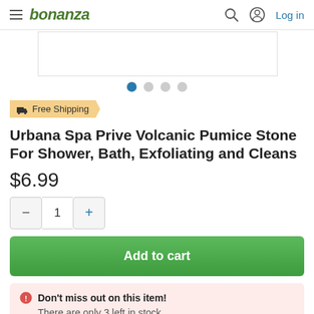bonanza — Log in
[Figure (photo): Product image carousel placeholder with 4 navigation dots, first dot active]
Free Shipping
Urbana Spa Prive Volcanic Pumice Stone For Shower, Bath, Exfoliating and Cleans
$6.99
Quantity selector: minus, 1, plus
Add to cart
Don't miss out on this item! There are only 3 left in stock.